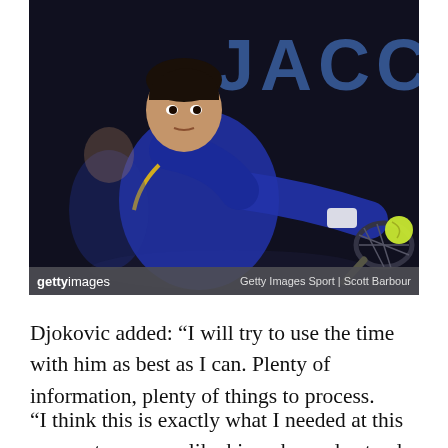[Figure (photo): Tennis player (Novak Djokovic) in a blue polo shirt lunging forward to hit a tennis ball with a racket. Dark background with partial 'JACC' text visible. Getty Images watermark bar at bottom reading 'gettyimages' and 'Getty Images Sport | Scott Barbour'.]
Djokovic added: “I will try to use the time with him as best as I can. Plenty of information, plenty of things to process.
“I think this is exactly what I needed at this moment, a person like him who understands the reactions as a